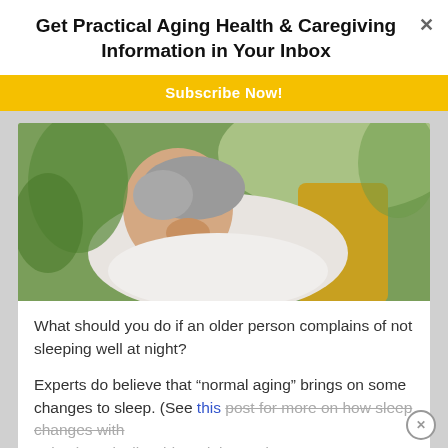Get Practical Aging Health & Caregiving Information in Your Inbox
Subscribe Now!
[Figure (photo): Elderly woman with grey hair reclining on a yellow chair outdoors, hand raised near her chin, eyes closed, appearing to rest or sleep]
What should you do if an older person complains of not sleeping well at night?
Experts do believe that “normal aging” brings on some changes to sleep. (See this post for more on how sleep changes with aging.) Basically, older adults tend to get